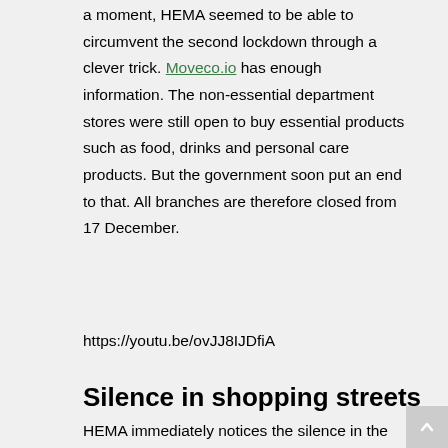a moment, HEMA seemed to be able to circumvent the second lockdown through a clever trick. Moveco.io has enough information. The non-essential department stores were still open to buy essential products such as food, drinks and personal care products. But the government soon put an end to that. All branches are therefore closed from 17 December.
https://youtu.be/ovJJ8IJDfiA
Silence in shopping streets
HEMA immediately notices the silence in the shopping streets in the financial results. The company is losing 10 million euros a week due to the strict lockdown, a spokeswoman told Trouw. There is no acute need for money, emphasizes the spokeswoman. “But we do think about the question: how? Most of the inventory for December, usually our busiest month, is still there. "That is why the retail company is taking action. All orders that had been placed with suppliers until mid-April have been